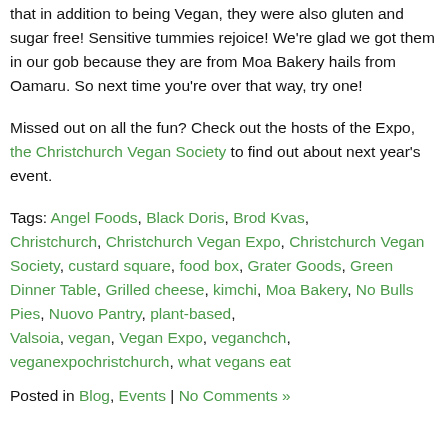that in addition to being Vegan, they were also gluten and sugar free! Sensitive tummies rejoice! We're glad we got them in our gob because they are from Moa Bakery hails from Oamaru. So next time you're over that way, try one!
Missed out on all the fun? Check out the hosts of the Expo, the Christchurch Vegan Society to find out about next year's event.
Tags: Angel Foods, Black Doris, Brod Kvas, Christchurch, Christchurch Vegan Expo, Christchurch Vegan Society, custard square, food box, Grater Goods, Green Dinner Table, Grilled cheese, kimchi, Moa Bakery, No Bulls Pies, Nuovo Pantry, plant-based, Valsoia, vegan, Vegan Expo, veganchch, veganexpochristchurch, what vegans eat
Posted in Blog, Events | No Comments »